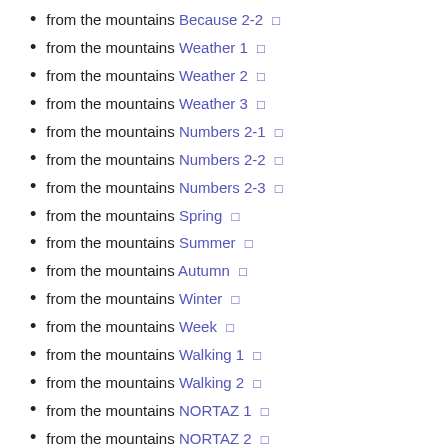from the mountains Because 2-2 🔲
from the mountains Weather 1 🔲
from the mountains Weather 2 🔲
from the mountains Weather 3 🔲
from the mountains Numbers 2-1 🔲
from the mountains Numbers 2-2 🔲
from the mountains Numbers 2-3 🔲
from the mountains Spring 🔲
from the mountains Summer 🔲
from the mountains Autumn 🔲
from the mountains Winter 🔲
from the mountains Week 🔲
from the mountains Walking 1 🔲
from the mountains Walking 2 🔲
from the mountains NORTAZ 1 🔲
from the mountains NORTAZ 2 🔲